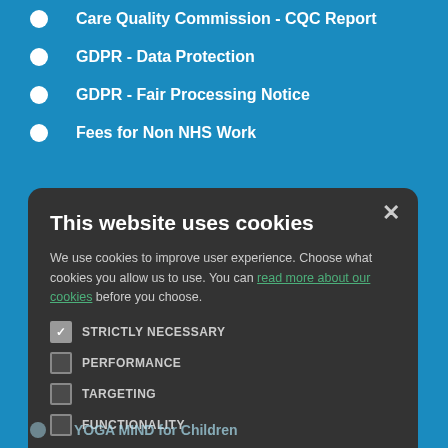Care Quality Commission - CQC Report
GDPR - Data Protection
GDPR - Fair Processing Notice
Fees for Non NHS Work
[Figure (screenshot): Cookie consent modal dialog with dark background. Title: 'This website uses cookies'. Body text about improving user experience with a link 'read more about our cookies'. Four checkboxes: STRICTLY NECESSARY (checked), PERFORMANCE, TARGETING, FUNCTIONALITY. Two buttons: ACCEPT ALL (green) and DECLINE ALL (outlined).]
YOGA MIND for Children